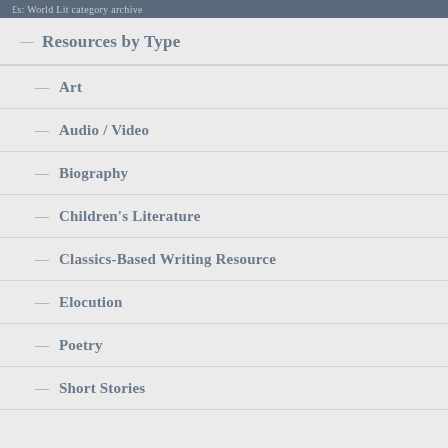£s: World Lit category archive
Resources by Type
Art
Audio / Video
Biography
Children's Literature
Classics-Based Writing Resource
Elocution
Poetry
Short Stories